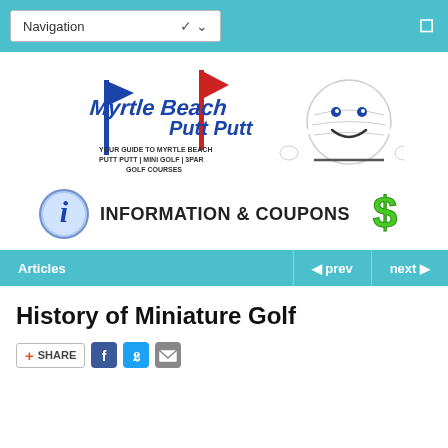Navigation
[Figure (logo): Myrtle Beach Putt Putt logo with golf ball mascot and text 'Your guide to Myrtle Beach Putt Putt / Mini Golf / 3Par Golf Courses']
[Figure (infographic): Information & Coupons banner with blue 'i' icon on left and green dollar sign on right, bold text 'INFORMATION & COUPONS' in center]
Articles  ◄ prev  next ►
History of Miniature Golf
+ SHARE  [Facebook] [Twitter] [Email]